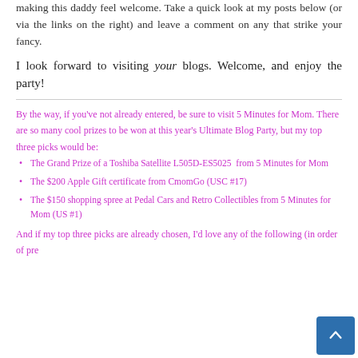making this daddy feel welcome. Take a quick look at my posts below (or via the links on the right) and leave a comment on any that strike your fancy.
I look forward to visiting your blogs. Welcome, and enjoy the party!
By the way, if you've not already entered, be sure to visit 5 Minutes for Mom. There are so many cool prizes to be won at this year's Ultimate Blog Party, but my top three picks would be:
The Grand Prize of a Toshiba Satellite L505D-ES5025  from 5 Minutes for Mom
The $200 Apple Gift certificate from CmomGo (USC #17)
The $150 shopping spree at Pedal Cars and Retro Collectibles from 5 Minutes for Mom (US #1)
And if my top three picks are already chosen, I'd love any of the following (in order of pre...